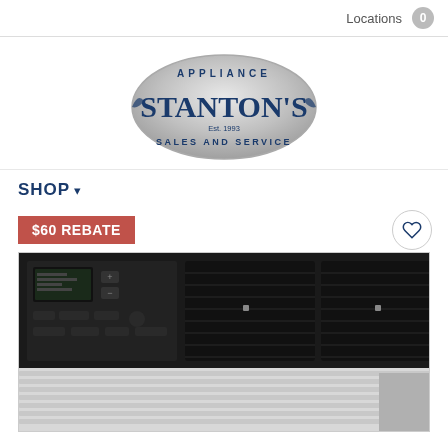Locations  0
[Figure (logo): Stanton's Appliance Sales and Service logo — oval silver badge with blue text reading APPLIANCE STANTON'S Est. 1993 SALES AND SERVICE]
SHOP ▾
$60 REBATE
[Figure (photo): Air conditioner unit — black control panel on left with display and buttons, two large black ventilation grilles in center and right, white louvered bottom section partially visible]